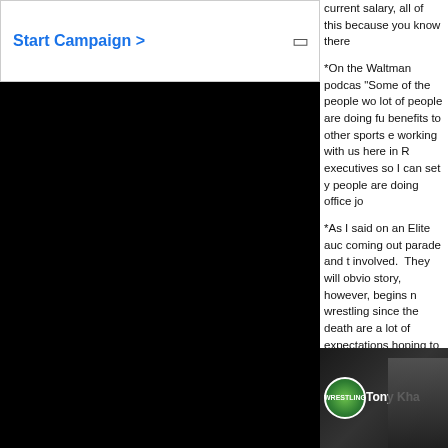Start Campaign >
*On the Waltman podcast, "Some of the people working here, a lot of people are doing full benefits to other sports executives, working with us here in R executives so I can set you people are doing office jo
*As I said on an Elite aud coming out parade and t involved. They will obvio story, however, begins n wrestling since the death are a lot of expectations hoping to see happen. 2
You can listen to the enti
[Figure (photo): Wrestling podcast thumbnail showing Tony Kha with a logo and a dark-haired person silhouette]